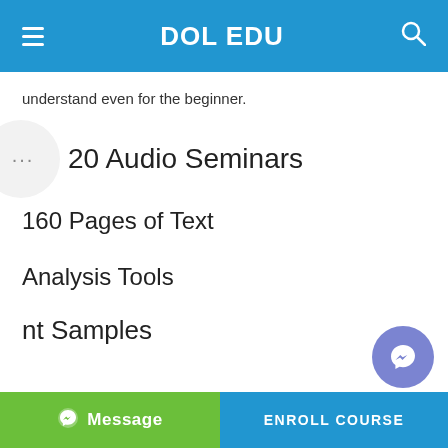DOL EDU
understand even for the beginner.
20 Audio Seminars
160 Pages of Text
Analysis Tools
nt Samples
Message   ENROLL COURSE